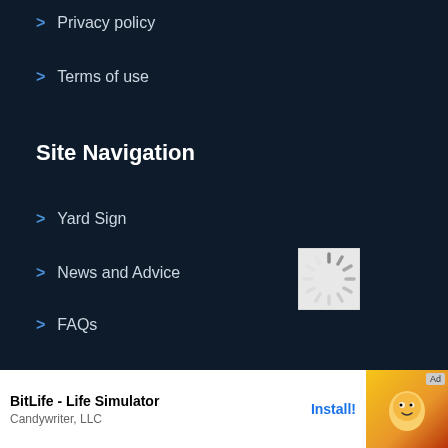> Privacy policy
> Terms of use
Site Navigation
> Yard Sign
> News and Advice
> FAQs
> Sitemap
[Figure (other): Loading spinner icon - circular dashed loading indicator]
We are on Social
[Figure (other): Social media icons - Facebook and Twitter icons partially visible]
[Figure (other): Scroll to top button - red button with upward chevron arrow]
[Figure (other): Ad banner: BitLife - Life Simulator by Candywriter, LLC with Install button and Ad badge]